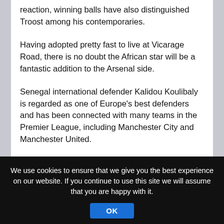reaction, winning balls have also distinguished Troost among his contemporaries.

Having adopted pretty fast to live at Vicarage Road, there is no doubt the African star will be a fantastic addition to the Arsenal side.

Senegal international defender Kalidou Koulibaly is regarded as one of Europe's best defenders and has been connected with many teams in the Premier League, including Manchester City and Manchester United.

Koulibaly's outstanding defensive displays for
We use cookies to ensure that we give you the best experience on our website. If you continue to use this site we will assume that you are happy with it.